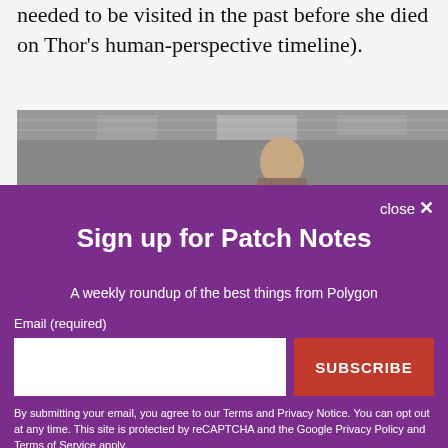needed to be visited in the past before she died on Thor's human-perspective timeline).
[Figure (photo): A man (appearing to be a superhero character) shown from behind/side in a large industrial or hangar-like space with high ceilings and windows.]
close ✕
Sign up for Patch Notes
A weekly roundup of the best things from Polygon
Email (required)
SUBSCRIBE
By submitting your email, you agree to our Terms and Privacy Notice. You can opt out at any time. This site is protected by reCAPTCHA and the Google Privacy Policy and Terms of Service apply.